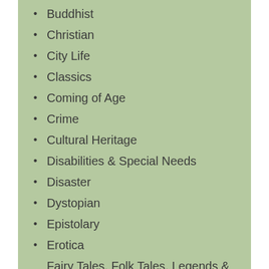Buddhist
Christian
City Life
Classics
Coming of Age
Crime
Cultural Heritage
Disabilities & Special Needs
Disaster
Dystopian
Epistolary
Erotica
Fairy Tales, Folk Tales, Legends & Mythology
Family Life
Fantasy
Feminist
Friendship
Ghost